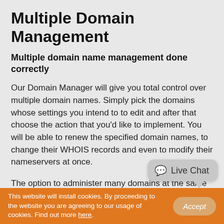Multiple Domain Management
Multiple domain name management done correctly
Our Domain Manager will give you total control over multiple domain names. Simply pick the domains whose settings you intend to to edit and after that choose the action that you'd like to implement. You will be able to renew the specified domain names, to change their WHOIS records and even to modify their nameservers at once.
The option to administer many domains at the same time will help domain name owners save time on common domain administration tasks.
[Figure (other): Live Chat bubble widget in gray with speech bubble icon]
This website will install cookies. By proceeding to the website you are agreeing to our usage of cookies. Find out more here.